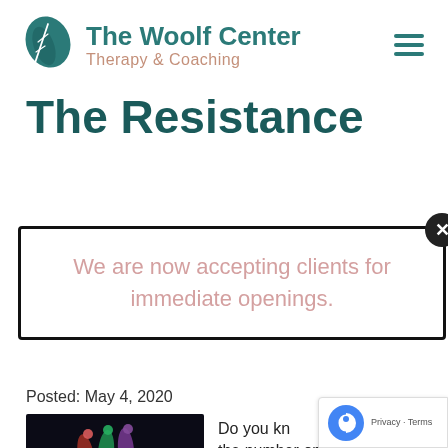[Figure (logo): The Woolf Center Therapy & Coaching logo with a teal leaf icon and teal/salmon text]
The Resistance
We are now accepting clients for immediate openings.
Posted: May 4, 2020
[Figure (photo): Dark photo showing colorful glowing lights/objects being held up]
Do you kn the number one